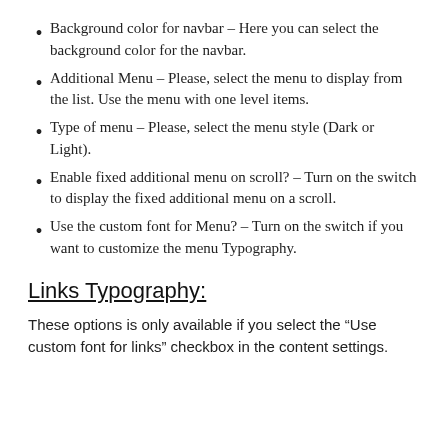Background color for navbar – Here you can select the background color for the navbar.
Additional Menu – Please, select the menu to display from the list. Use the menu with one level items.
Type of menu – Please, select the menu style (Dark or Light).
Enable fixed additional menu on scroll? – Turn on the switch to display the fixed additional menu on a scroll.
Use the custom font for Menu? – Turn on the switch if you want to customize the menu Typography.
Links Typography:
These options is only available if you select the “Use custom font for links” checkbox in the content settings.